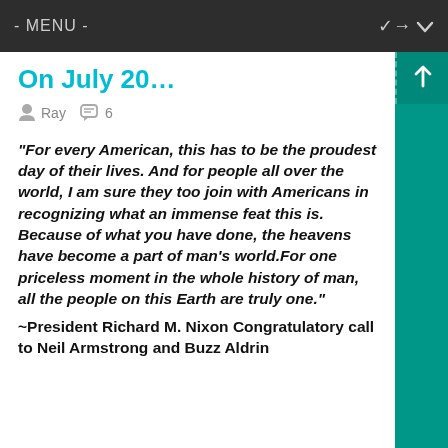- MENU -
On July 20…
Ray  6
“For every American, this has to be the proudest day of their lives. And for people all over the world, I am sure they too join with Americans in recognizing what an immense feat this is. Because of what you have done, the heavens have become a part of man’s world.For one priceless moment in the whole history of man, all the people on this Earth are truly one.”
~President Richard M. Nixon Congratulatory call to Neil Armstrong and Buzz Aldrin